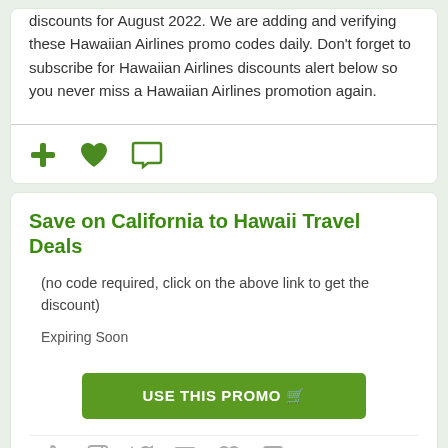discounts for August 2022. We are adding and verifying these Hawaiian Airlines promo codes daily. Don't forget to subscribe for Hawaiian Airlines discounts alert below so you never miss a Hawaiian Airlines promotion again.
Save on California to Hawaii Travel Deals
(no code required, click on the above link to get the discount)
Expiring Soon
USE THIS PROMO